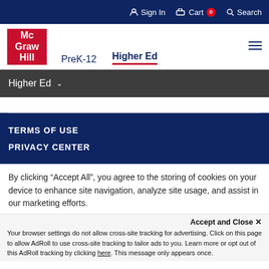Sign In  Cart 0  Search
[Figure (logo): McGraw Hill red logo with white text: Mc Graw Hill]
PreK-12  Higher Ed
Higher Ed
TERMS OF USE
PRIVACY CENTER
By clicking “Accept All”, you agree to the storing of cookies on your device to enhance site navigation, analyze site usage, and assist in our marketing efforts.
Accept and Close ×
Your browser settings do not allow cross-site tracking for advertising. Click on this page to allow AdRoll to use cross-site tracking to tailor ads to you. Learn more or opt out of this AdRoll tracking by clicking here. This message only appears once.